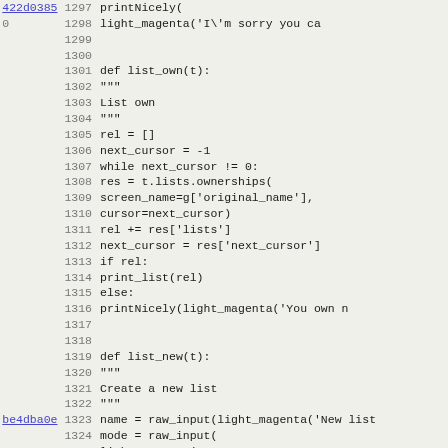Source code listing with line numbers 1297-1329, showing Python functions list_own(t) and list_new(t) with commit hashes 422d0385 and be4dba0e linked on lines 1297 and 1323.